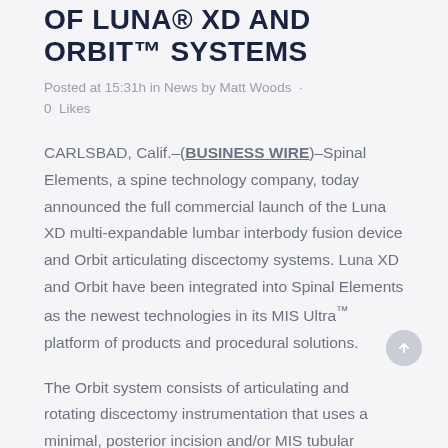OF LUNA® XD AND ORBIT™ SYSTEMS
Posted at 15:31h in News by Matt Woods · 0 Likes
CARLSBAD, Calif.–(BUSINESS WIRE)–Spinal Elements, a spine technology company, today announced the full commercial launch of the Luna XD multi-expandable lumbar interbody fusion device and Orbit articulating discectomy systems. Luna XD and Orbit have been integrated into Spinal Elements as the newest technologies in its MIS Ultra™ platform of products and procedural solutions.
The Orbit system consists of articulating and rotating discectomy instrumentation that uses a minimal, posterior incision and/or MIS tubular